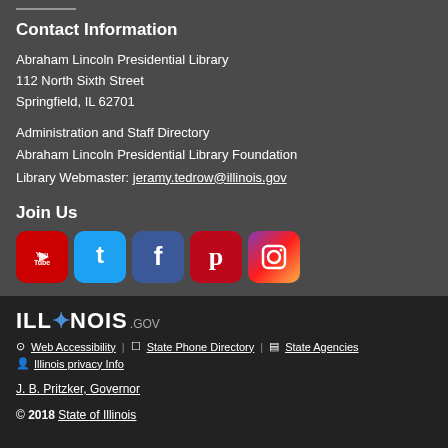Contact Information
Abraham Lincoln Presidential Library
112 North Sixth Street
Springfield, IL 62701
Administration and Staff Directory
Abraham Lincoln Presidential Library Foundation
Library Webmaster: jeramy.tedrow@illinois.gov
Join Us
[Figure (illustration): Social media icons: YouTube, Twitter, Facebook, Pinterest, Instagram]
[Figure (logo): ILLINOIS.gov logo]
Web Accessibility   State Phone Directory   State Agencies
Illinois privacy Info
J. B. Pritzker, Governor
© 2018 State of Illinois